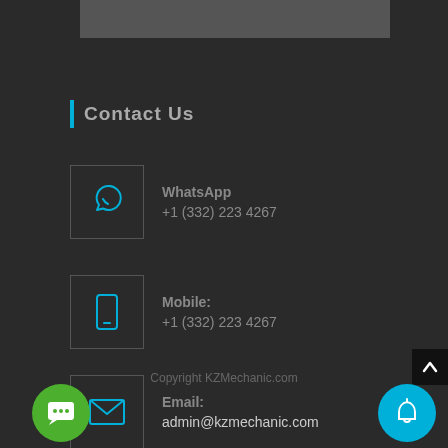[Figure (other): Gray banner/image at top]
Contact Us
WhatsApp +1 (332) 223 4267
Mobile: +1 (332) 223 4267
Email: admin@kzmechanic.com
[Figure (other): SKYPE button]
Copyright KZMechanic.com